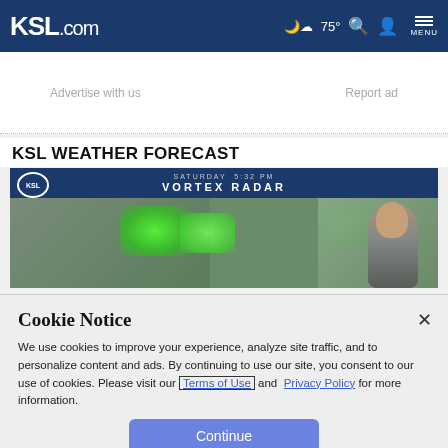KSL.com  75°  MENU
Advertise with us    Report ad
KSL WEATHER FORECAST
[Figure (screenshot): KSL Weather Forecast video thumbnail showing Vortex Radar with green radar imagery and a meteorologist on screen. Text reads: SATURDAY 5:32 PM, VORTEX RADAR]
Cookie Notice
We use cookies to improve your experience, analyze site traffic, and to personalize content and ads. By continuing to use our site, you consent to our use of cookies. Please visit our Terms of Use and Privacy Policy for more information.
Continue